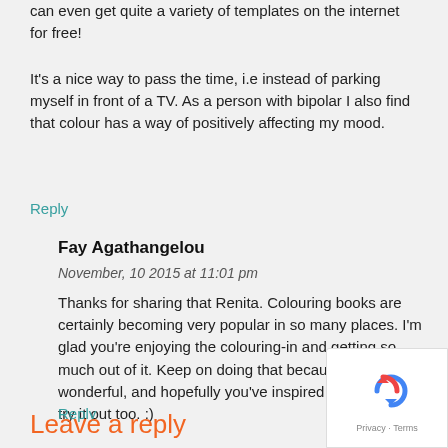can even get quite a variety of templates on the internet for free!
It's a nice way to pass the time, i.e instead of parking myself in front of a TV. As a person with bipolar I also find that colour has a way of positively affecting my mood.
Reply
Fay Agathangelou
November, 10 2015 at 11:01 pm
Thanks for sharing that Renita. Colouring books are certainly becoming very popular in so many places. I'm glad you're enjoying the colouring-in and getting so much out of it. Keep on doing that because it's wonderful, and hopefully you've inspired some others to try it out too. :)
Reply
Leave a reply